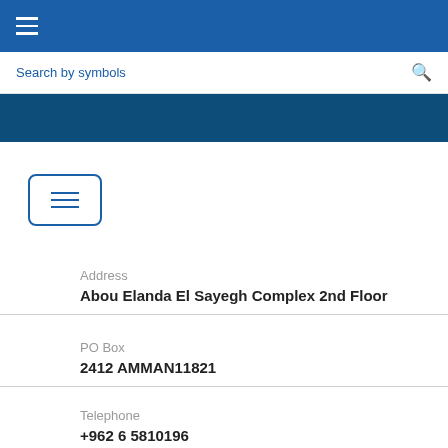☰ (hamburger menu)
Search by symbols 🔍
[Figure (screenshot): Blue navigation band]
[Figure (screenshot): Hamburger/menu button with three lines, bordered in blue]
Address
Abou Elanda El Sayegh Complex 2nd Floor
PO Box
2412 AMMAN11821
Telephone
+962 6 5810196